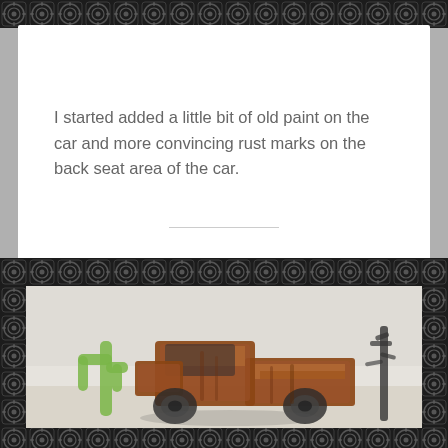[Figure (illustration): Decorative black and white repeating geometric/swirl pattern border strip at top of page]
I started added a little bit of old paint on the car and more convincing rust marks on the back seat area of the car.
[Figure (illustration): Decorative black and white repeating geometric/swirl pattern border strip in middle of page]
[Figure (illustration): Artwork/drawing of a rusty old pickup truck in a desert scene with cactus and a Joshua tree, rendered in colored pencil or watercolor on textured paper, surrounded by decorative border]